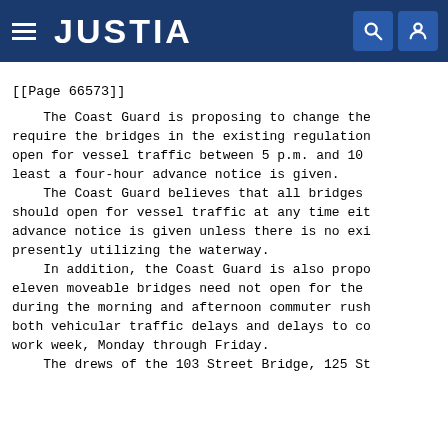JUSTIA
[[Page 66573]]
The Coast Guard is proposing to change the require the bridges in the existing regulation open for vessel traffic between 5 p.m. and 10 least a four-hour advance notice is given.
The Coast Guard believes that all bridges should open for vessel traffic at any time eit advance notice is given unless there is no exi presently utilizing the waterway.
In addition, the Coast Guard is also propo eleven moveable bridges need not open for the during the morning and afternoon commuter rush both vehicular traffic delays and delays to co work week, Monday through Friday.
The drews of the 103 Street Bridge, 125 St